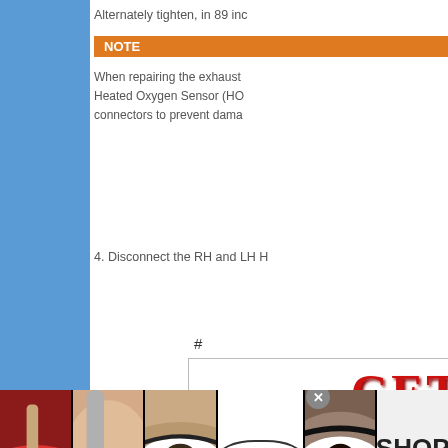Alternately tighten, in 89 inc
NOTE
When repairing the exhaust
Heated Oxygen Sensor (HO
connectors to prevent dama
4. Disconnect the RH and LH H
[Figure (engineering-diagram): Partial engineering diagram showing lines/connections, partially cropped on right side of page]
#
[Figure (other): Advertisement popup: GET YOUR EX BACK! Learn how you can win your ex's heart]
[Figure (other): Bottom banner advertisement for ULTA Beauty with makeup images and SHOP NOW text]
infolinks